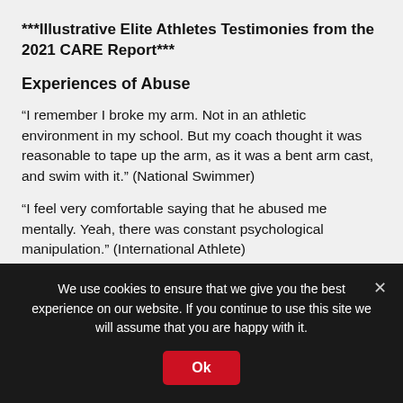***Illustrative Elite Athletes Testimonies from the 2021 CARE Report***
Experiences of Abuse
“I remember I broke my arm. Not in an athletic environment in my school. But my coach thought it was reasonable to tape up the arm, as it was a bent arm cast, and swim with it.” (National Swimmer)
“I feel very comfortable saying that he abused me mentally. Yeah, there was constant psychological manipulation.” (International Athlete)
“….my rights as a girl child were not protected. The national
We use cookies to ensure that we give you the best experience on our website. If you continue to use this site we will assume that you are happy with it.
Ok